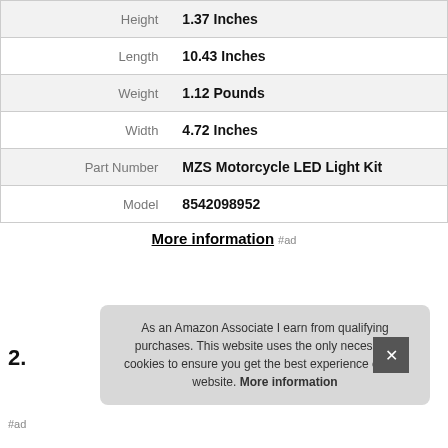| Height | 1.37 Inches |
| Length | 10.43 Inches |
| Weight | 1.12 Pounds |
| Width | 4.72 Inches |
| Part Number | MZS Motorcycle LED Light Kit |
| Model | 8542098952 |
More information #ad
2.
#ad
As an Amazon Associate I earn from qualifying purchases. This website uses the only necessary cookies to ensure you get the best experience on our website. More information